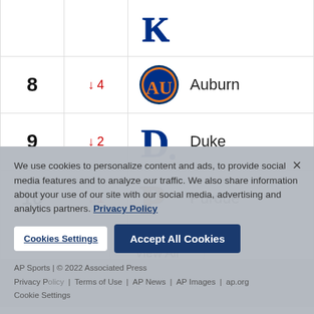| Rank | Change | Team |
| --- | --- | --- |
| 8 | ↓ 4 | Auburn |
| 9 | ↓ 2 | Duke |
| 10 | ↓ 1 | Purdue |
View All
We use cookies to personalize content and ads, to provide social media features and to analyze our traffic. We also share information about your use of our site with our social media, advertising and analytics partners. Privacy Policy
AP Sports | © 2022 Associated Press | Privacy Policy | Terms of Use | AP News | AP Images | ap.org | Cookie Settings
Cookies Settings | Accept All Cookies